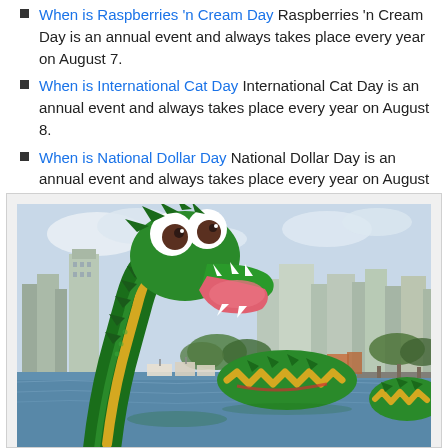When is Raspberries 'n Cream Day Raspberries 'n Cream Day is an annual event and always takes place every year on August 7.
When is International Cat Day International Cat Day is an annual event and always takes place every year on August 8.
When is National Dollar Day National Dollar Day is an annual event and always takes place every year on August 8.
[Figure (photo): A large LEGO sea monster / dragon sculpture in green and yellow rising out of a body of water, with a city skyline and marina in the background.]